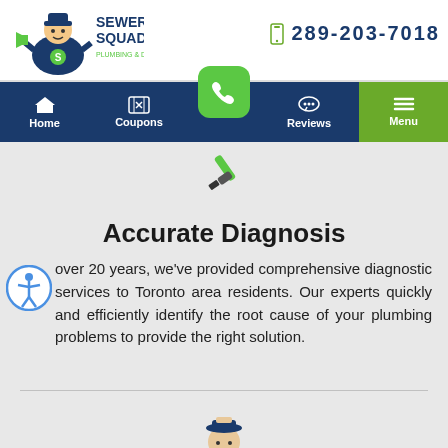[Figure (logo): Sewer Squad Plumbing & Drains logo with cartoon mascot]
289-203-7018
[Figure (infographic): Navigation bar with Home, Coupons, Call (green phone button), Reviews, Menu items]
[Figure (illustration): Wrench/screwdriver icon]
Accurate Diagnosis
over 20 years, we've provided comprehensive diagnostic services to Toronto area residents. Our experts quickly and efficiently identify the root cause of your plumbing problems to provide the right solution.
[Figure (illustration): Plumber technician icon in dark blue and green with wrench]